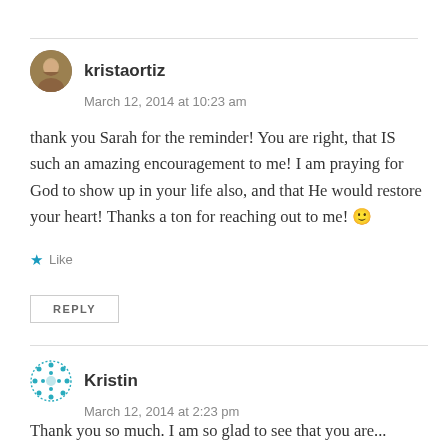kristaortiz
March 12, 2014 at 10:23 am
thank you Sarah for the reminder! You are right, that IS such an amazing encouragement to me! I am praying for God to show up in your life also, and that He would restore your heart! Thanks a ton for reaching out to me! 🙂
Like
REPLY
Kristin
March 12, 2014 at 2:23 pm
Thank you so much. I am so glad to see that you are...